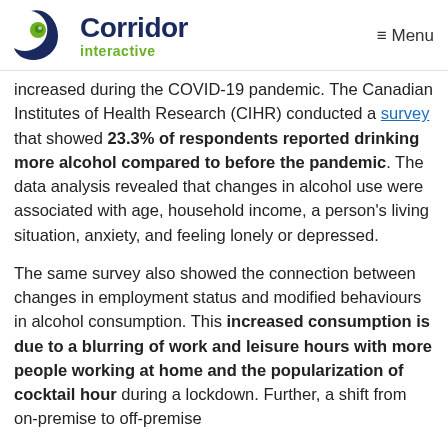Corridor Interactive — Menu
increased during the COVID-19 pandemic. The Canadian Institutes of Health Research (CIHR) conducted a survey that showed 23.3% of respondents reported drinking more alcohol compared to before the pandemic. The data analysis revealed that changes in alcohol use were associated with age, household income, a person's living situation, anxiety, and feeling lonely or depressed.
The same survey also showed the connection between changes in employment status and modified behaviours in alcohol consumption. This increased consumption is due to a blurring of work and leisure hours with more people working at home and the popularization of cocktail hour during a lockdown. Further, a shift from on-premise to off-premise